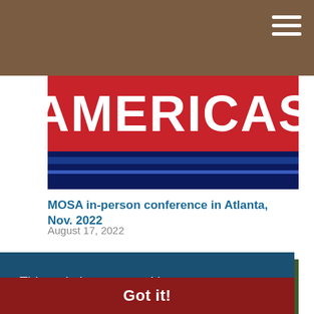[Figure (illustration): AMERICAS red and blue banner logo on dark navy background]
MOSA in-person conference in Atlanta, Nov. 2022
August 17, 2022
[Figure (screenshot): UNMANNED section card with dark olive green background and partial 'ews' label]
This website uses cookies to ensure you get the best experience on our website.
Learn More
Got it!